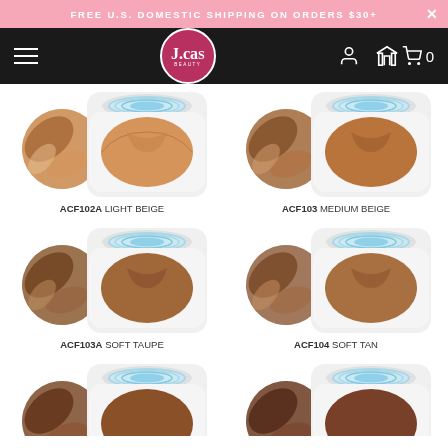FREE U.S. DOMESTIC SHIPPING ON ORDERS $30+
[Figure (logo): J.cat beauty logo on black navigation bar with hamburger menu, user icon, and cart icon showing 0 items]
[Figure (photo): ACF102A Light Beige foundation compact with product swatch]
ACF102A LIGHT BEIGE
[Figure (photo): ACF103 Medium Beige foundation compact with product swatch]
ACF103 MEDIUM BEIGE
[Figure (photo): ACF103A Soft Taupe foundation compact with product swatch]
ACF103A SOFT TAUPE
[Figure (photo): ACF104 Soft Tan foundation compact with product swatch]
ACF104 SOFT TAN
[Figure (photo): Two additional foundation compacts partially visible at bottom of page]